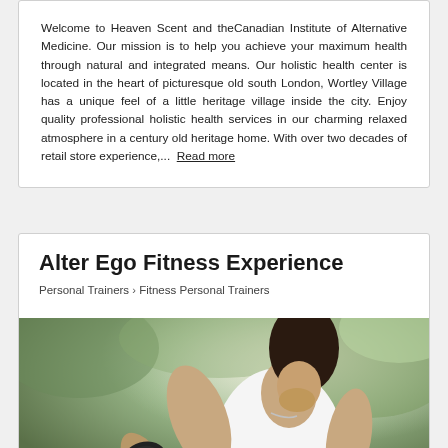Welcome to Heaven Scent and theCanadian Institute of Alternative Medicine. Our mission is to help you achieve your maximum health through natural and integrated means. Our holistic health center is located in the heart of picturesque old south London, Wortley Village has a unique feel of a little heritage village inside the city. Enjoy quality professional holistic health services in our charming relaxed atmosphere in a century old heritage home. With over two decades of retail store experience,... Read more
Alter Ego Fitness Experience
Personal Trainers > Fitness Personal Trainers
[Figure (photo): Woman in white tank top lifting a dumbbell outdoors]
Victoria, British Columbia